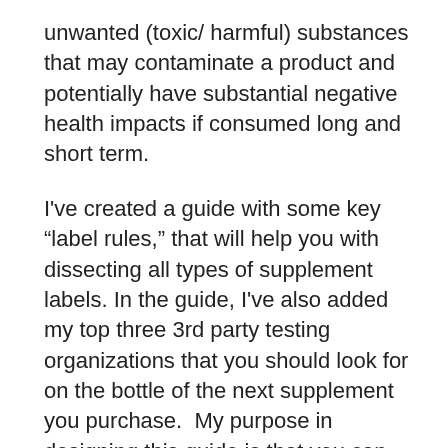unwanted (toxic/ harmful) substances that may contaminate a product and potentially have substantial negative health impacts if consumed long and short term.
I've created a guide with some key “label rules,” that will help you with dissecting all types of supplement labels. In the guide, I've also added my top three 3rd party testing organizations that you should look for on the bottle of the next supplement you purchase.  My purpose in designing this guide is that you can feel best educated in